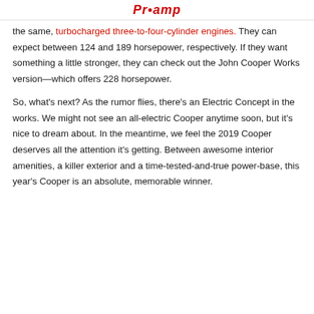Proump
the same, turbocharged three-to-four-cylinder engines. They can expect between 124 and 189 horsepower, respectively. If they want something a little stronger, they can check out the John Cooper Works version—which offers 228 horsepower.
So, what's next? As the rumor flies, there's an Electric Concept in the works. We might not see an all-electric Cooper anytime soon, but it's nice to dream about. In the meantime, we feel the 2019 Cooper deserves all the attention it's getting. Between awesome interior amenities, a killer exterior and a time-tested-and-true power-base, this year's Cooper is an absolute, memorable winner.